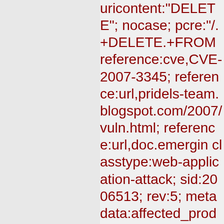uricontent:"DELETE"; nocase; pcre:"/.+DELETE.+FROM reference:cve,CVE-2007-3345; reference:url,pridels-team.blogspot.com/2007/vuln.html; reference:url,doc.emergin classtype:web-application-attack; sid:2006513; rev:5; metadata:affected_produc Web_Server_Applications attack_target Web_Server, deployment Datacenter, tag SQL_Injection, signature_severity Major, created_at 2010_07_30, updated at